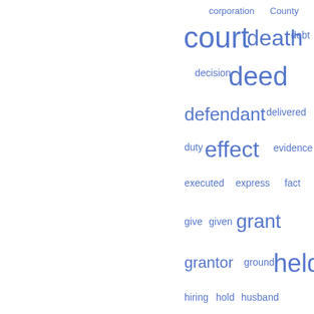[Figure (other): Word cloud of legal terms in blue, varying font sizes indicating frequency. Words include: corporation, County, court, death, debt, decision, deed, defendant, delivered, duty, effect, evidence, executed, express, fact, give, given, grant, grantor, ground, held, hiring, hold, husband, income, injury, instrument, intention, interest, involved, Iowa, judge, judgment, land, lease, limitation, losses, maker, meaning, ment, natural, necessary, operation, opinion, owner, paid, parties, pass]